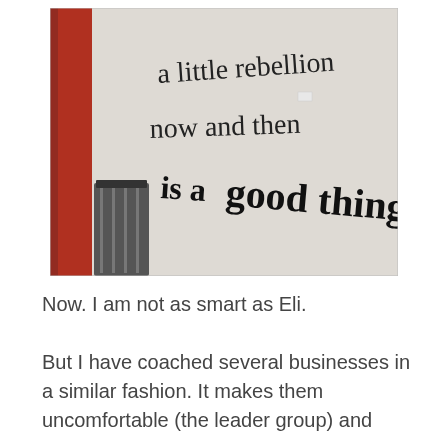[Figure (photo): Photograph of a wall with handwritten graffiti reading: 'a little rebellion now and then is a good thing'. A red doorframe and a trash bin are visible on the left side.]
Now. I am not as smart as Eli.
But I have coached several businesses in a similar fashion. It makes them uncomfortable (the leader group) and